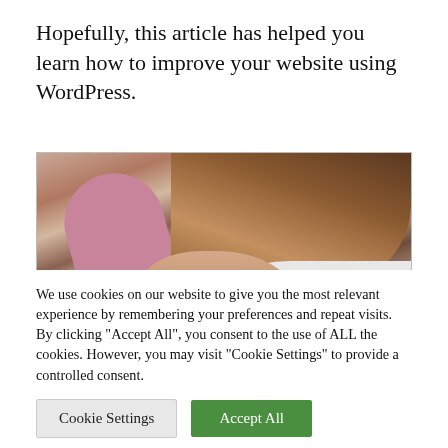Hopefully, this article has helped you learn how to improve your website using WordPress.
[Figure (photo): A dental professional leaning over a patient who is lying back in a dental chair. A pink dental chair arm is visible on the left. The professional has brown hair pulled back and wears a white coat.]
We use cookies on our website to give you the most relevant experience by remembering your preferences and repeat visits. By clicking "Accept All", you consent to the use of ALL the cookies. However, you may visit "Cookie Settings" to provide a controlled consent.